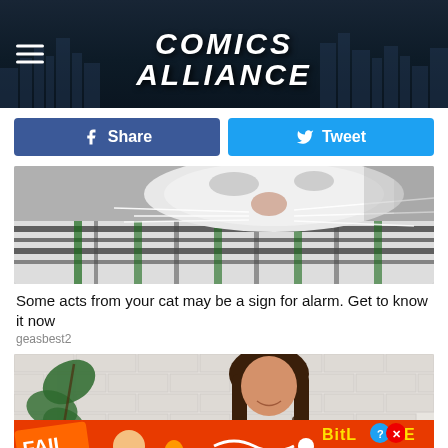Comics Alliance
Share
Tweet
[Figure (photo): Close-up photo of a cat's face and whiskers resting on a patterned black and white textile]
Some acts from your cat may be a sign for alarm. Get to know it now
geasbest2
[Figure (photo): A smiling young woman with long brown hair standing in front of a white brick wall with tropical leaf plants, wearing a teal shirt]
[Figure (infographic): BitLife advertisement banner: orange/red background with FAIL text, animated girl, fire, and 'START A NEW LIFE' text]